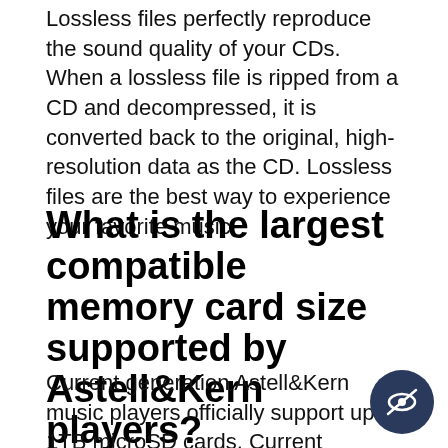Lossless files perfectly reproduce the sound quality of your CDs. When a lossless file is ripped from a CD and decompressed, it is converted back to the original, high-resolution data as the CD. Lossless files are the best way to experience your favorite music.
What is the largest compatible memory card size supported by Astell&Kern players?
Current generation Astell&Kern music players officially support up to 1TB microSD cards. Current generation players consist of all Octa Quad-Core series DAPs. All previous generation players officially support up to 512GB...
[Figure (illustration): Dark circular icon with a crossed-out eye symbol (privacy/hide icon) in the bottom-right corner of the page.]